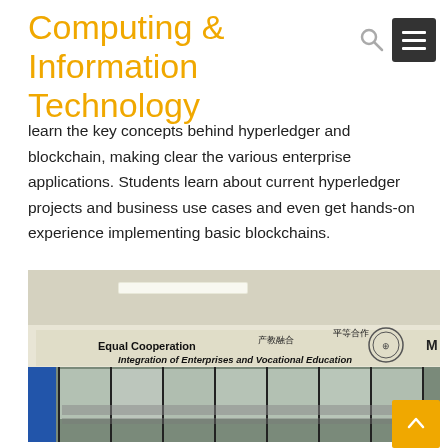Computing & Information Technology
learn the key concepts behind hyperledger and blockchain, making clear the various enterprise applications. Students learn about current hyperledger projects and business use cases and even get hands-on experience implementing basic blockchains.
[Figure (photo): Indoor photo of a room with glass windows showing signage: 'Equal Cooperation', '产教融合', '平等合作', 'Integration of Enterprises and Vocational Education' with a logo/seal and letter M visible at the right edge.]
Entrepreneurship and Vocation Education Sub-Section